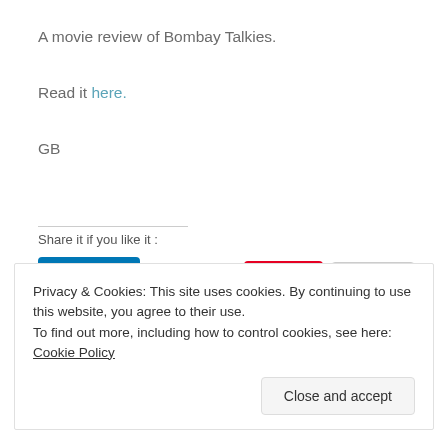A movie review of Bombay Talkies.
Read it here.
GB
Share it if you like it :
Privacy & Cookies: This site uses cookies. By continuing to use this website, you agree to their use.
To find out more, including how to control cookies, see here: Cookie Policy
Close and accept